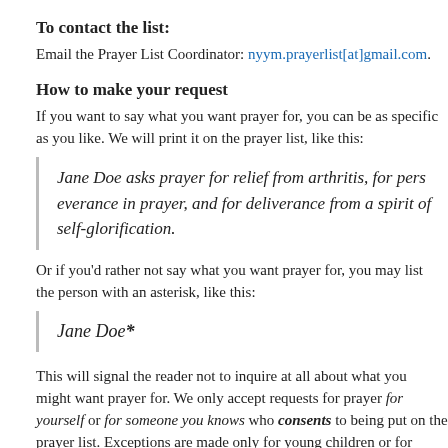To contact the list:
Email the Prayer List Coordinator: nyym.prayerlist[at]gmail.com.
How to make your request
If you want to say what you want prayer for, you can be as specific as you like. We will print it on the prayer list, like this:
Jane Doe asks prayer for relief from arthritis, for perseverance in prayer, and for deliverance from a spirit of self-glorification.
Or if you'd rather not say what you want prayer for, you may list the person with an asterisk, like this:
Jane Doe*
This will signal the reader not to inquire at all about what you might want prayer for. We only accept requests for prayer for yourself or for someone you know who consents to being put on the prayer list. Exceptions are made only for young children or for family members who may be comatose, or legally incompetent— then—please think! We don't want anyone hurt or embarrassed to disc…